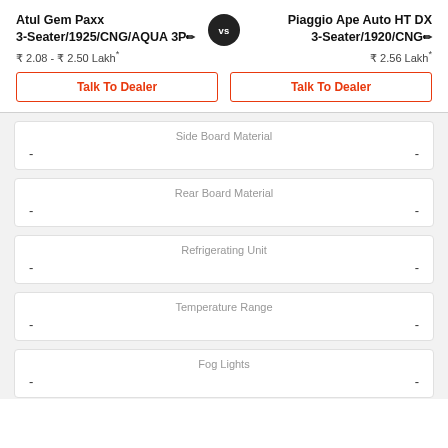Atul Gem Paxx 3-Seater/1925/CNG/AQUA 3P
₹ 2.08 - ₹ 2.50 Lakh*
Piaggio Ape Auto HT DX 3-Seater/1920/CNG
₹ 2.56 Lakh*
Talk To Dealer
Talk To Dealer
| Left | Spec | Right |
| --- | --- | --- |
| - | Side Board Material | - |
| - | Rear Board Material | - |
| - | Refrigerating Unit | - |
| - | Temperature Range | - |
| - | Fog Lights | - |